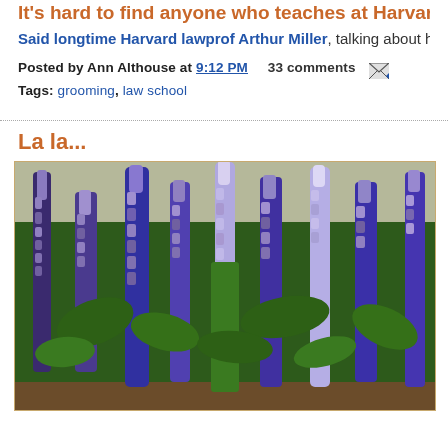It's hard to find anyone who teaches at Harvard who sh...
Said longtime Harvard lawprof Arthur Miller, talking about his decision to mo...
Posted by Ann Althouse at 9:12 PM   33 comments
Tags: grooming, law school
La la...
[Figure (photo): Photograph of tall blue and purple flower spikes (veronica/speedwell plants) with green foliage, taken in a garden setting.]